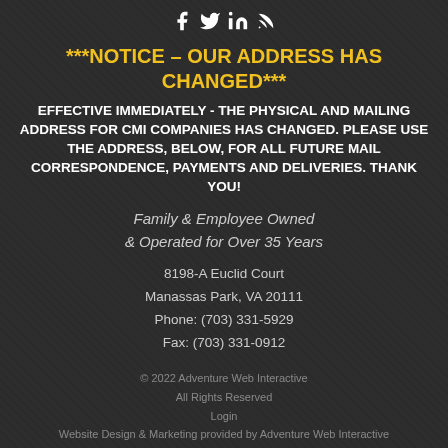[Figure (illustration): Social media icons: Facebook, Twitter, LinkedIn, RSS feed]
***NOTICE – OUR ADDRESS HAS CHANGED***
EFFECTIVE IMMEDIATELY - THE PHYSICAL AND MAILING ADDRESS FOR CMI COMPANIES HAS CHANGED.  PLEASE USE THE ADDRESS, BELOW, FOR ALL FUTURE MAIL CORRESPONDENCE, PAYMENTS AND DELIVERIES.  THANK YOU!
Family & Employee Owned & Operated for Over 35 Years
8198-A Euclid Court
Manassas Park, VA 20111
Phone: (703) 331-5929
Fax: (703) 331-0912
© 2022 Adventure Web Interactive
All Rights Reserved
Login
Website Design & Marketing provided by Adventure Web Interactive